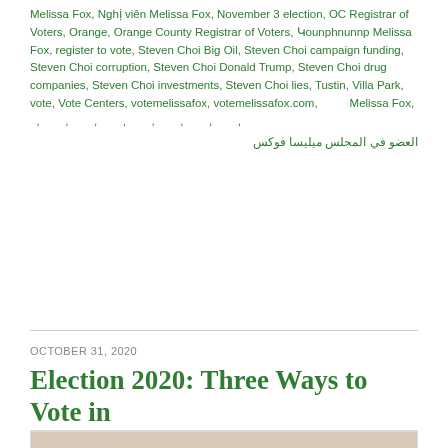Melissa Fox, Nghị viên Melissa Fox, November 3 election, OC Registrar of Voters, Orange, Orange County Registrar of Voters, Կounphnunnp Melissa Fox, register to vote, Steven Choi Big Oil, Steven Choi campaign funding, Steven Choi corruption, Steven Choi Donald Trump, Steven Choi drug companies, Steven Choi investments, Steven Choi lies, Tustin, Villa Park, vote, Vote Centers, votemelissafox, votemelissafox.com, , Melissa Fox, , , , , , , , العضو في المجلس ميليسا فوكس
OCTOBER 31, 2020
Election 2020: Three Ways to Vote in California!
[Figure (photo): A patriotic face mask with text 'LET FREEDOM RING' on the blue upper band and 'FREEDOM' and 'VOTE' on white/blue bands below, lying on a beige surface]